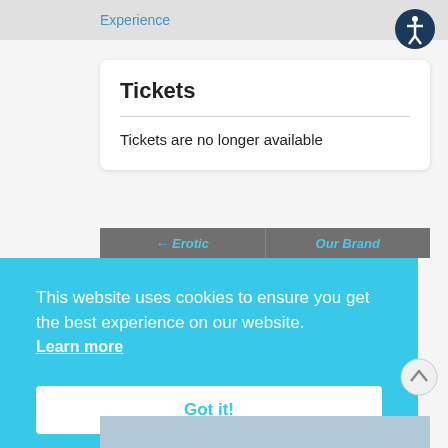Experience
Tickets
Tickets are no longer available
[Figure (screenshot): Navigation buttons row partially visible showing links: ← Erotic and Our Brand]
This website uses cookies to ensure you get the best experience on our website. Learn more
Got it!
[Figure (photo): Partial bottom image strip]